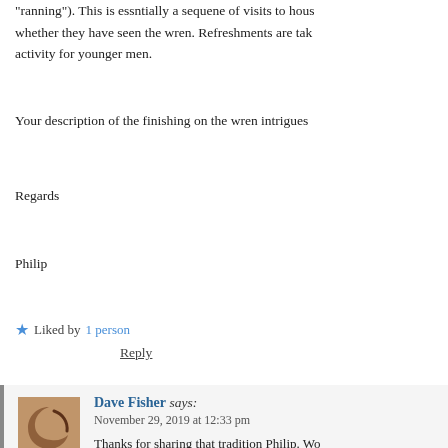“ranning”). This is essntially a sequene of visits to hous whether they have seen the wren. Refreshments are tak activity for younger men.
Your description of the finishing on the wren intrigues
Regards
Philip
★ Liked by 1 person
Reply
Dave Fisher says:
November 29, 2019 at 12:33 pm
Thanks for sharing that tradition Philip. Wo As for the choices for the surfaces, much o piece of maple, which is often true in mo